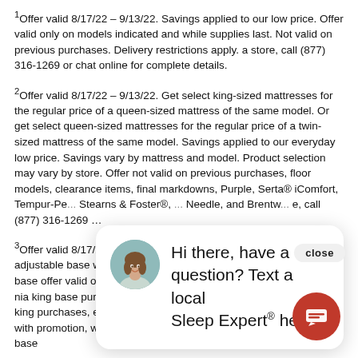¹Offer valid 8/17/22 – 9/13/22. Savings applied to our low price. Offer valid only on models indicated and while supplies last. Not valid on previous purchases. Delivery restrictions apply. a store, call (877) 316-1269 or chat online for complete details.
²Offer valid 8/17/22 – 9/13/22. Get select king-sized mattresses for the regular price of a queen-sized mattress of the same model. Or get select queen-sized mattresses for the regular price of a twin-sized mattress of the same model. Savings applied to our everyday low price. Savings vary by mattress and model. Product selection may vary by store. Offer not valid on previous purchases, floor models, clearance items, final markdowns, Purple, Serta® iComfort, Tempur-Pe... Stearns & Foster®, ... Needle, and Brentw... e, call (877) 316-1269 ...
³Offer valid 8/17/22 – ... adjustable base (up... (free queen adjustab... adjustable base with minimum $1299 purchase). Free adjustable base offer valid on same-size mattress purchased. Split king or split ... nia king base purchases consist of 2 bases. For split king or split king purchases, each customer will receive one free adjustable base with promotion, with second base at regular price. Free adjustable base offer valid on select mattresses and may not combine with all...
[Figure (screenshot): Chat popup overlay with avatar photo of a woman, text 'Hi there, have a question? Text a local Sleep Expert® here.' and a close button, plus a red chat bubble button in the bottom right.]